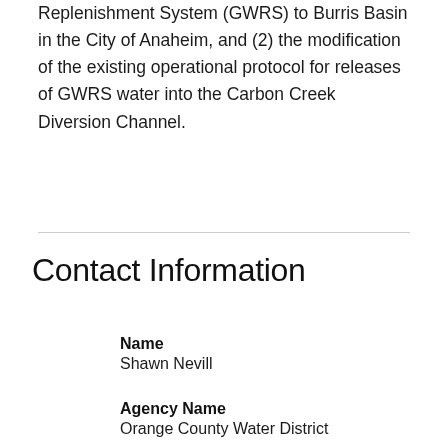Replenishment System (GWRS) to Burris Basin in the City of Anaheim, and (2) the modification of the existing operational protocol for releases of GWRS water into the Carbon Creek Diversion Channel.
Contact Information
Name
Shawn Nevill
Agency Name
Orange County Water District